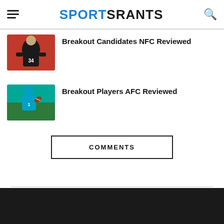SPORTSRANTS
[Figure (photo): Football player wearing jersey number 34 against a red background]
Breakout Candidates NFC Reviewed
[Figure (photo): Quarterback in teal/blue uniform throwing a football]
Breakout Players AFC Reviewed
COMMENTS